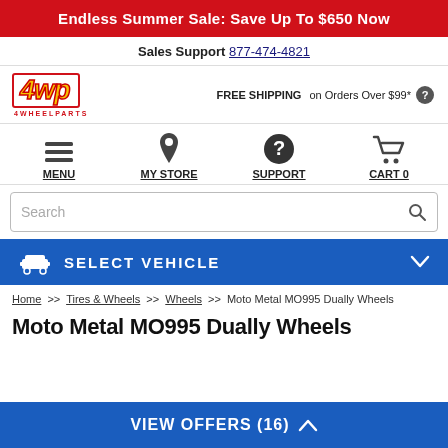Endless Summer Sale: Save Up To $650 Now
Sales Support 877-474-4821
[Figure (logo): 4WP 4 Wheel Parts logo in yellow and red]
FREE SHIPPING on Orders Over $99*
MENU  MY STORE  SUPPORT  CART 0
Search
SELECT VEHICLE
Home >> Tires & Wheels >> Wheels >> Moto Metal MO995 Dually Wheels
Moto Metal MO995 Dually Wheels
VIEW OFFERS (16)